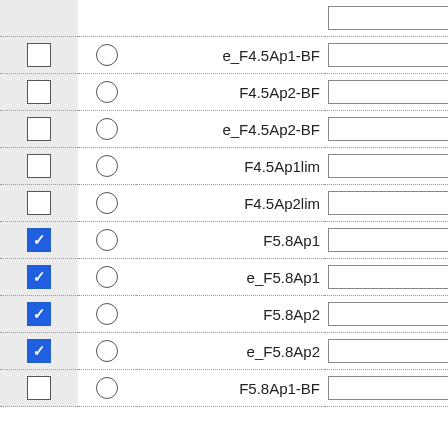| checked | radio | label | input |
| --- | --- | --- | --- |
|  | ○ | e_F4.5Ap1-BF |  |
|  | ○ | F4.5Ap2-BF |  |
|  | ○ | e_F4.5Ap2-BF |  |
|  | ○ | F4.5Ap1lim |  |
|  | ○ | F4.5Ap2lim |  |
| ✓ | ○ | F5.8Ap1 |  |
| ✓ | ○ | e_F5.8Ap1 |  |
| ✓ | ○ | F5.8Ap2 |  |
| ✓ | ○ | e_F5.8Ap2 |  |
|  | ○ | F5.8Ap1-BF |  |